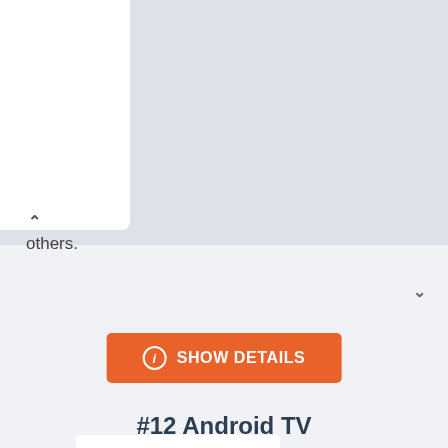others.
[Figure (screenshot): SHOW DETAILS button with orange background and info icon]
#12 Android TV
[Figure (logo): androidtv logo in green text on white background]
Paid
0